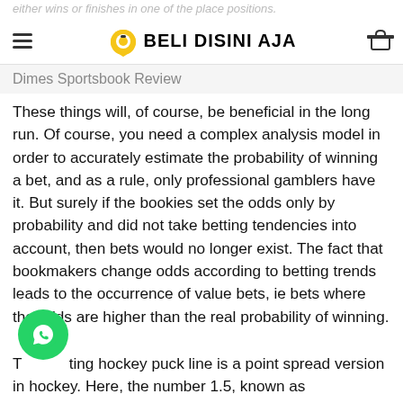either wins or finishes in one of the place positions. BELI DISINI AJA
Dimes Sportsbook Review
These things will, of course, be beneficial in the long run. Of course, you need a complex analysis model in order to accurately estimate the probability of winning a bet, and as a rule, only professional gamblers have it. But surely if the bookies set the odds only by probability and did not take betting tendencies into account, then bets would no longer exist. The fact that bookmakers change odds according to betting trends leads to the occurrence of value bets, ie bets where the odds are higher than the real probability of winning.
The betting hockey puck line is a point spread version in hockey. Here, the number 1.5, known as